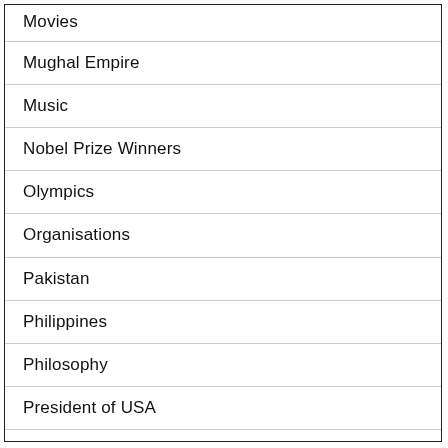Movies
Mughal Empire
Music
Nobel Prize Winners
Olympics
Organisations
Pakistan
Philippines
Philosophy
President of USA
R...